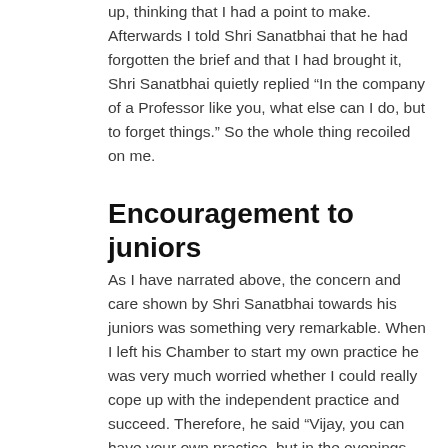up, thinking that I had a point to make. Afterwards I told Shri Sanatbhai that he had forgotten the brief and that I had brought it, Shri Sanatbhai quietly replied “In the company of a Professor like you, what else can I do, but to forget things.” So the whole thing recoiled on me.
Encouragement to juniors
As I have narrated above, the concern and care shown by Shri Sanatbhai towards his juniors was something very remarkable. When I left his Chamber to start my own practice he was very much worried whether I could really cope up with the independent practice and succeed. Therefore, he said “Vijay, you can have your own practice, but in the evenings come to the